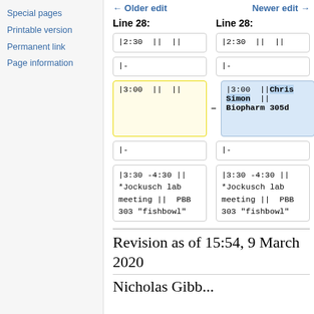Special pages
Printable version
Permanent link
Page information
← Older edit    Newer edit →
Line 28:   Line 28:
| Old | New |
| --- | --- |
| |2:30  ||  || | |2:30  ||  || |
| |- | |- |
| |3:00  ||  || | |3:00  ||Chris Simon  ||  Biopharm 305d |
| |- | |- |
| |3:30 -4:30  || *Jockusch lab meeting ||  PBB 303 "fishbowl" | |3:30 -4:30  || *Jockusch lab meeting ||  PBB 303 "fishbowl" |
Revision as of 15:54, 9 March 2020
Nicholas Gibb...